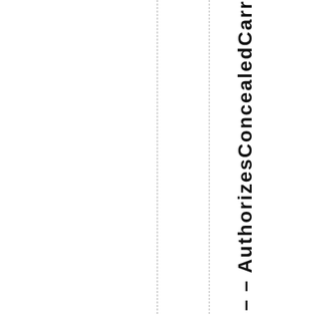ge – – AuthorizesConcealed Carr